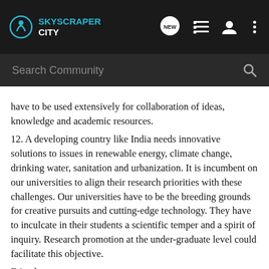[Figure (screenshot): SkyscraperCity logo and navigation bar with NEW chat icon, list icon, user icon, and more options icon on dark background]
[Figure (screenshot): Search Community input bar with magnifying glass icon on dark background]
have to be used extensively for collaboration of ideas, knowledge and academic resources.
12. A developing country like India needs innovative solutions to issues in renewable energy, climate change, drinking water, sanitation and urbanization. It is incumbent on our universities to align their research priorities with these challenges. Our universities have to be the breeding grounds for creative pursuits and cutting-edge technology. They have to inculcate in their students a scientific temper and a spirit of inquiry. Research promotion at the under-graduate level could facilitate this objective.
Friends:
13. Central universities are intended to be a vehicle for social transformation. They have to reach out to people in their region by disseminating knowledge, encouraging innovation, promoting environmental conservation and developing skills. They have to elicit